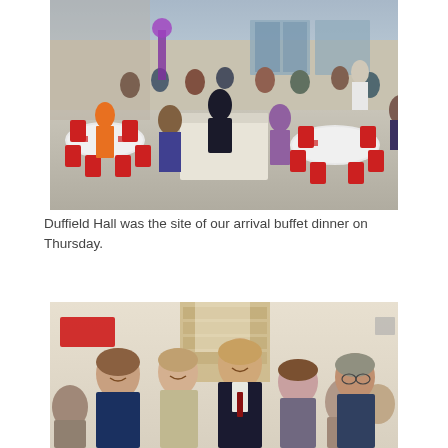[Figure (photo): A large indoor buffet dinner event in Duffield Hall. Many people are seated at round tables covered with white tablecloths and red chairs. A buffet table is set up in the center. The hall has high ceilings and glass walls.]
Duffield Hall was the site of our arrival buffet dinner on Thursday.
[Figure (photo): A group of people posing for a photo inside Duffield Hall. A woman and several men are smiling at the camera. The interior of the hall with signage and brick walls is visible in the background.]